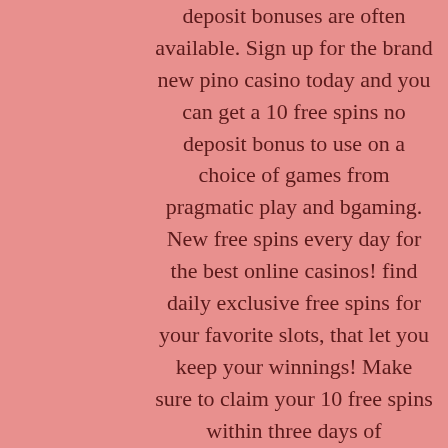deposit bonuses are often available. Sign up for the brand new pino casino today and you can get a 10 free spins no deposit bonus to use on a choice of games from pragmatic play and bgaming. New free spins every day for the best online casinos! find daily exclusive free spins for your favorite slots, that let you keep your winnings! Make sure to claim your 10 free spins within three days of registration. The offer is only available to new players, with each free spin worth £0. — they're primarily aimed at encouraging bettors to register with casinos and test the new games. Some types include free spin welcome bonus, no-. One of the most popular bonus online casinos give to attract new players are free spins bonuses ✓ we have gathered a list of best free spins offers by. Get 11 free spins completely free when you sign up at mrvegas. All new customers also get 100% match bonus on their first deposit. So many casinos include free spins